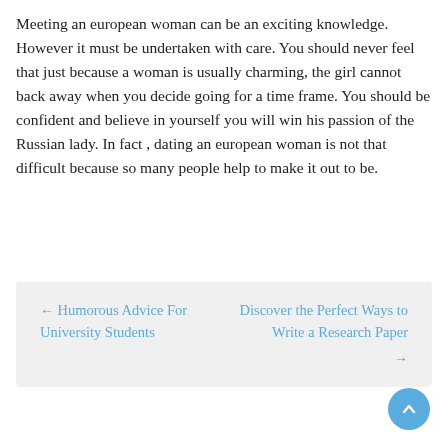Meeting an european woman can be an exciting knowledge. However it must be undertaken with care. You should never feel that just because a woman is usually charming, the girl cannot back away when you decide going for a time frame. You should be confident and believe in yourself you will win his passion of the Russian lady. In fact , dating an european woman is not that difficult because so many people help to make it out to be.
← Humorous Advice For University Students | Discover the Perfect Ways to Write a Research Paper →